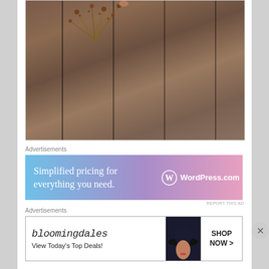[Figure (photo): Overhead view of dried plant/flower arrangement on dark weathered wooden planks with visible grain lines]
Advertisements
[Figure (illustration): WordPress.com advertisement banner with gradient blue-purple-pink background. Text reads: 'Simplified pricing for everything you need.' with WordPress.com logo on the right.]
REPORT THIS AD
Advertisements
[Figure (illustration): Bloomingdales advertisement banner. Shows 'bloomingdales' in italic script with 'View Today's Top Deals!' text, a woman wearing a large dark hat, and a 'SHOP NOW >' button.]